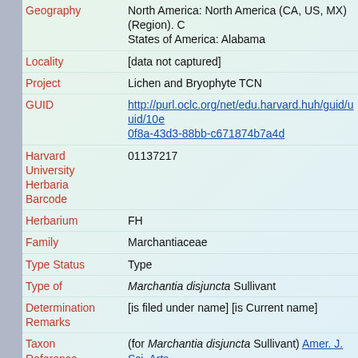| Field | Value |
| --- | --- |
| Geography | North America: North America (CA, US, MX) (Region). C... States of America: Alabama |
| Locality | [data not captured] |
| Project | Lichen and Bryophyte TCN |
| GUID | http://purl.oclc.org/net/edu.harvard.huh/guid/uuid/10e0f8a-43d3-88bb-c671874b7a4d |
| Harvard University Herbaria Barcode | 01137217 |
| Herbarium | FH |
| Family | Marchantiaceae |
| Type Status | Type |
| Type of | Marchantia disjuncta Sullivant |
| Determination Remarks | [is filed under name] [is Current name] |
| Taxon Reference | (for Marchantia disjuncta Sullivant) Amer. J. Sci. Arts 1: 74. |
| Subcollection | Sullivant Herbarium [Hepaticae] |
| Sex | not determined |
| Phenology | NotDetermined |
| Preparation Type | Packet |